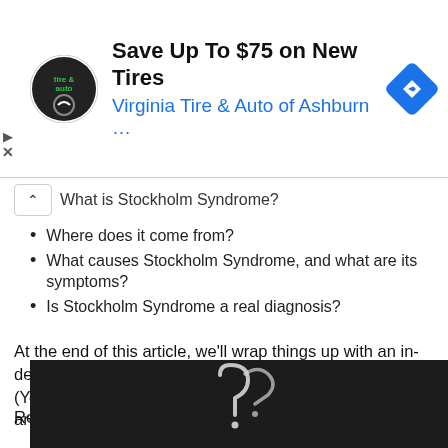[Figure (screenshot): Advertisement banner for Virginia Tire & Auto of Ashburn with logo, headline 'Save Up To $75 on New Tires', subheadline in blue 'Virginia Tire & Auto of Ashburn ...', and a blue navigation diamond icon on the right.]
What is Stockholm Syndrome?
Where does it come from?
What causes Stockholm Syndrome, and what are its symptoms?
Is Stockholm Syndrome a real diagnosis?
At the end of this article, we'll wrap things up with an in-depth look at two real-life cases of Stockholm Syndrome. (You'll want to stick around until the end...those cases are really interesting.)
Ready? Then let's jump in!
[Figure (photo): Dark chalkboard with a white chalk question mark symbol drawn on it.]